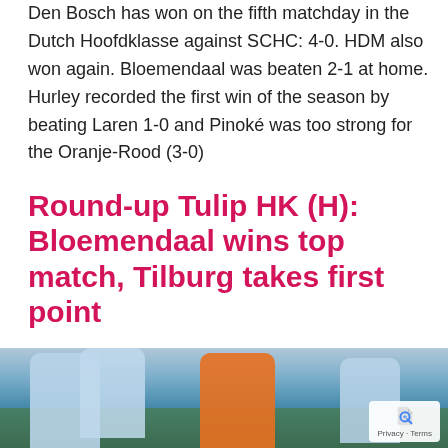Den Bosch has won on the fifth matchday in the Dutch Hoofdklasse against SCHC: 4-0. HDM also won again. Bloemendaal was beaten 2-1 at home. Hurley recorded the first win of the season by beating Laren 1-0 and Pinoké was too strong for the Oranje-Rood (3-0)
Round-up Tulip HK (H): Bloemendaal wins top match, Tilburg takes first point
[Figure (photo): Hockey match photo showing players in light blue kits competing against a player in orange kit on a field]